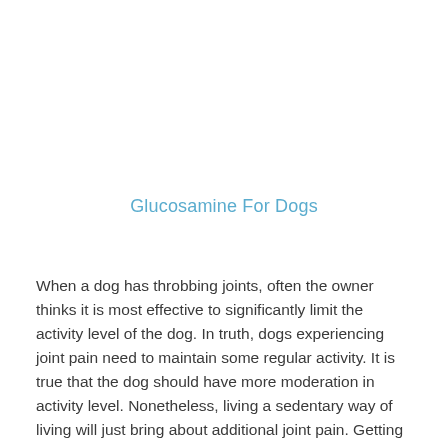Glucosamine For Dogs
When a dog has throbbing joints, often the owner thinks it is most effective to significantly limit the activity level of the dog. In truth, dogs experiencing joint pain need to maintain some regular activity. It is true that the dog should have more moderation in activity level. Nonetheless, living a sedentary way of living will just bring about additional joint pain. Getting a daily dose of the suitable level of exercise